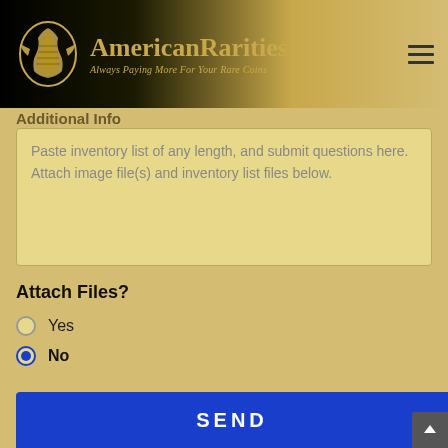[Figure (logo): American Rarities logo with golden eagle/coin design and tagline 'Always Paying More For Your Rare Coins']
Additional Info
Paste inventory list of any length, and submit questions here. Attach image file(s) and inventory list files below.
Attach Files?
Yes
No
SEND